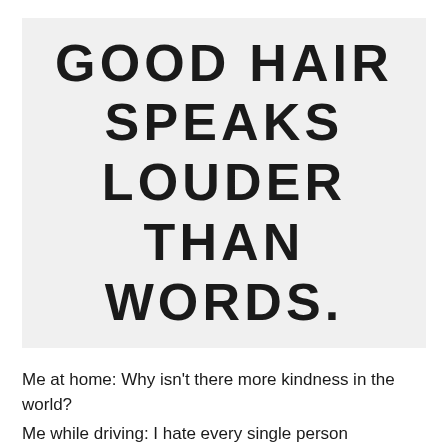[Figure (illustration): Light gray rectangular sign with bold uppercase black text reading: GOOD HAIR SPEAKS LOUDER THAN WORDS.]
Me at home: Why isn't there more kindness in the world?
Me while driving: I hate every single person